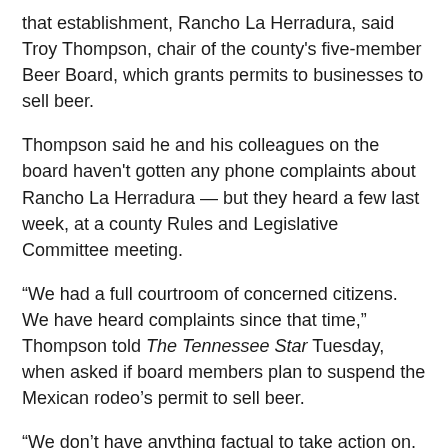that establishment, Rancho La Herradura, said Troy Thompson, chair of the county's five-member Beer Board, which grants permits to businesses to sell beer.
Thompson said he and his colleagues on the board haven't gotten any phone complaints about Rancho La Herradura — but they heard a few last week, at a county Rules and Legislative Committee meeting.
“We had a full courtroom of concerned citizens. We have heard complaints since that time,” Thompson told The Tennessee Star Tuesday, when asked if board members plan to suspend the Mexican rodeo’s permit to sell beer.
“We don’t have anything factual to take action on, but the people in our Circuit Clerk Office are supposed to be working on something.”